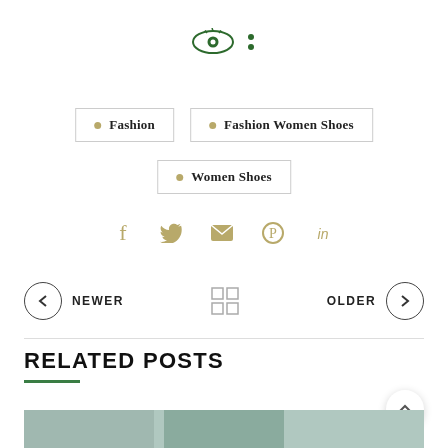[Figure (logo): Green eye icon with decorative dots beside it — website logo]
Fashion
Fashion Women Shoes
Women Shoes
[Figure (infographic): Social sharing icons: Facebook, Twitter, Email, Pinterest, LinkedIn in gold/tan color]
[Figure (infographic): Navigation row with NEWER (left arrow) and OLDER (right arrow) and grid icon in center]
RELATED POSTS